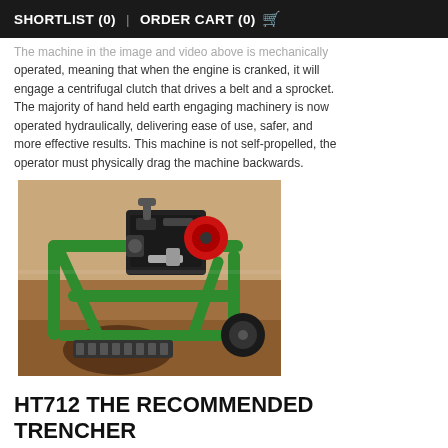SHORTLIST (0)  |  ORDER CART (0)
The machine in the image and video above is mechanically operated, meaning that when the engine is cranked, it will engage a centrifugal clutch that drives a belt and a sprocket. The majority of hand held earth engaging machinery is now operated hydraulically, delivering ease of use, safer, and more effective results. This machine is not self-propelled, the operator must physically drag the machine backwards.
[Figure (photo): Close-up photograph of a green trencher machine with a black engine and red starter cord, digging into brown soil/earth.]
HT712 THE RECOMMENDED TRENCHER